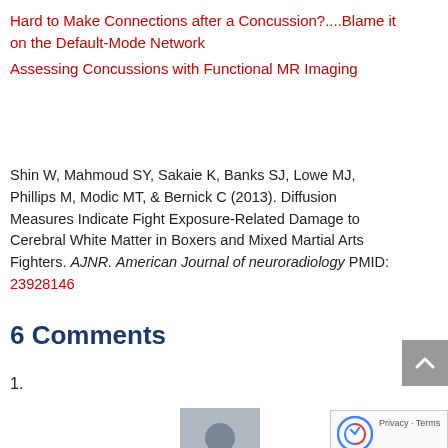Hard to Make Connections after a Concussion?....Blame it on the Default-Mode Network
Assessing Concussions with Functional MR Imaging
Shin W, Mahmoud SY, Sakaie K, Banks SJ, Lowe MJ, Phillips M, Modic MT, & Bernick C (2013). Diffusion Measures Indicate Fight Exposure-Related Damage to Cerebral White Matter in Boxers and Mixed Martial Arts Fighters. AJNR. American Journal of neuroradiology PMID: 23928146
6 Comments
1.
[Figure (illustration): Gray avatar placeholder silhouette icon]
[Figure (illustration): reCAPTCHA widget with Privacy - Terms text]